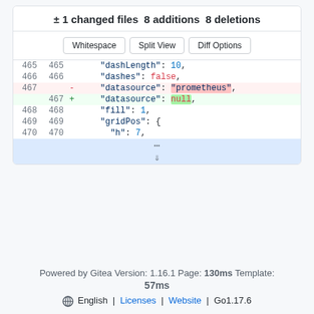± 1 changed files 8 additions 8 deletions
| old ln | new ln | sign | code |
| --- | --- | --- | --- |
| 465 | 465 |  | "dashLength": 10, |
| 466 | 466 |  | "dashes": false, |
| 467 |  | - | "datasource": "prometheus", |
|  | 467 | + | "datasource": null, |
| 468 | 468 |  | "fill": 1, |
| 469 | 469 |  | "gridPos": { |
| 470 | 470 |  | "h": 7, |
Powered by Gitea Version: 1.16.1 Page: 130ms Template: 57ms
English | Licenses | Website | Go1.17.6